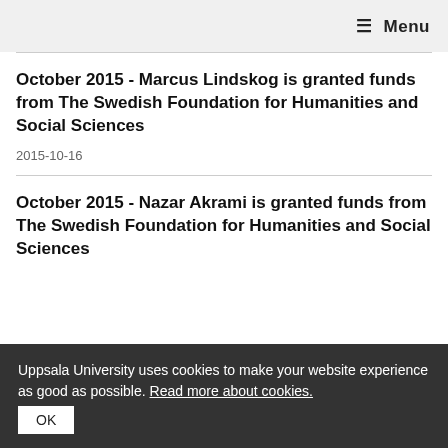☰ Menu
October 2015 - Marcus Lindskog is granted funds from The Swedish Foundation for Humanities and Social Sciences
2015-10-16
October 2015 - Nazar Akrami is granted funds from The Swedish Foundation for Humanities and Social Sciences
Uppsala University uses cookies to make your website experience as good as possible. Read more about cookies. OK